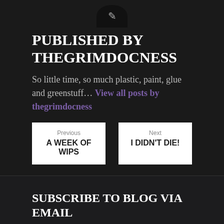[Figure (logo): Partial circular logo/avatar at top center, dark background]
PUBLISHED BY THEGRIMDOCNESS
So little time, so much plastic, paint, glue and greenstuff... View all posts by thegrimdocness
Previous — A WEEK OF WIPS
Next — I DIDN'T DIE!
SUBSCRIBE TO BLOG VIA EMAIL
Enter your email address to subscribe to this blog